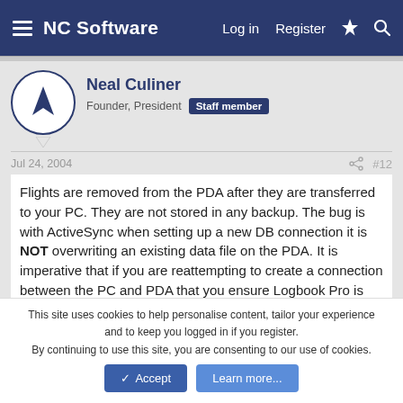NC Software  Log in  Register
Neal Culiner
Founder, President  Staff member
Jul 24, 2004  #12
Flights are removed from the PDA after they are transferred to your PC. They are not stored in any backup. The bug is with ActiveSync when setting up a new DB connection it is NOT overwriting an existing data file on the PDA. It is imperative that if you are reattempting to create a connection between the PC and PDA that you ensure Logbook Pro is NOT running in the background on the PPC as the PPC tries to do to conserve memory, you can do this from the Settings..Memory..Running
This site uses cookies to help personalise content, tailor your experience and to keep you logged in if you register.
By continuing to use this site, you are consenting to our use of cookies.
Accept  Learn more...